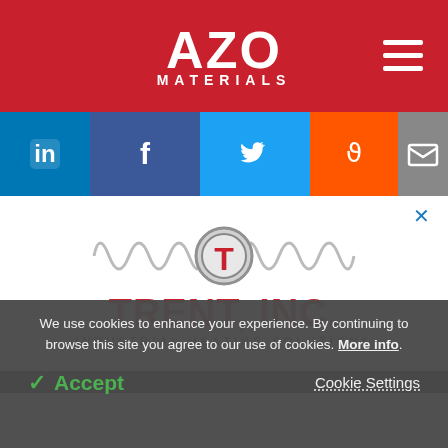AZO MATERIALS
[Figure (logo): AZO Materials logo - white bold AZO text with MATERIALS subtitle on red background, with hamburger menu icon on right]
[Figure (infographic): Social sharing bar with LinkedIn (blue), Facebook (dark blue), Twitter (light blue), Reddit (orange), Email (gray) icons]
[Figure (logo): Trent Inc. Industrial Heating Solutions logo - coil/heating element graphic above red bold TRENT, INC. text with INDUSTRIAL HEATING SOLUTIONS subtitle]
We use cookies to enhance your experience. By continuing to browse this site you agree to our use of cookies. More info.
✓ Accept
Cookie Settings